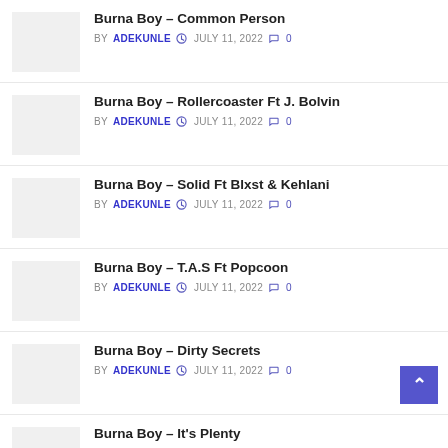Burna Boy – Common Person | BY ADEKUNLE | JULY 11, 2022 | 0
Burna Boy – Rollercoaster Ft J. Bolvin | BY ADEKUNLE | JULY 11, 2022 | 0
Burna Boy – Solid Ft Blxst & Kehlani | BY ADEKUNLE | JULY 11, 2022 | 0
Burna Boy – T.A.S Ft Popcoon | BY ADEKUNLE | JULY 11, 2022 | 0
Burna Boy – Dirty Secrets | BY ADEKUNLE | JULY 11, 2022 | 0
Burna Boy – It's Plenty